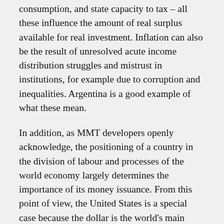consumption, and state capacity to tax – all these influence the amount of real surplus available for real investment. Inflation can also be the result of unresolved acute income distribution struggles and mistrust in institutions, for example due to corruption and inequalities. Argentina is a good example of what these mean.
In addition, as MMT developers openly acknowledge, the positioning of a country in the division of labour and processes of the world economy largely determines the importance of its money issuance. From this point of view, the United States is a special case because the dollar is the world's main reserve currency and preferred medium of exchange. There seems to have been enough demand for dollars for any practical purpose. But is the US an example of better? From the perspective of democratic left, it can be difficult to justify the United